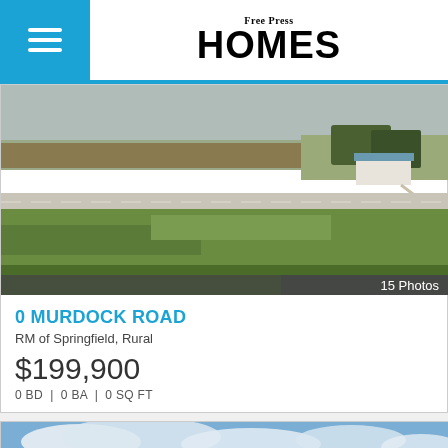Free Press HOMES
[Figure (photo): Aerial rural landscape photo showing flat farmland, a road, green fields, and a white house with blue roof in the background. Caption overlay: 15 Photos]
0 MURDOCK ROAD
RM of Springfield, Rural
$199,900
0 BD | 0 BA | 0 SQ FT
[Figure (photo): Partial photo of an open landscape with sky and clouds visible at the bottom of the page.]